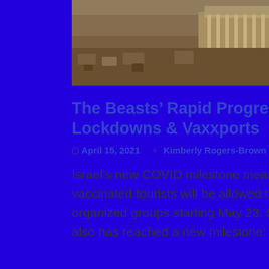[Figure (photo): Aerial or elevated view of ancient stone ruins and structures, possibly a historical site in the Middle East, with many stone blocks and a large building or fortress.]
The Beasts' Rapid Progression: Lockdowns & Vaxxports
April 15, 2021   Kimberly Rogers-Brown
Israel's new COVID milestone means a limited number of vaccinated tourists will be allowed to enter Israel in organized groups starting May 23. St. Vincent's Island also has reached a new milestone: